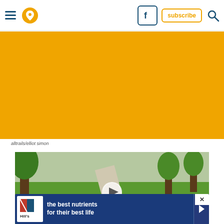[Figure (screenshot): Website header navigation bar with hamburger menu, location pin icon (orange circle), Facebook icon (blue rounded square), orange subscribe button, and blue search icon]
[Figure (photo): Large orange/amber solid color banner rectangle, likely a placeholder for a hero image]
alltrails/elliot simon
[Figure (screenshot): Embedded video player showing a park scene with green grass, trees, pathway, and a woman visible. A white play button circle is overlaid in the center. Below is an advertisement banner for Hill's pet food reading 'the best nutrients for their best life' with Hill's logo on a dark blue background, an X close button, and a play/arrow button on the right.]